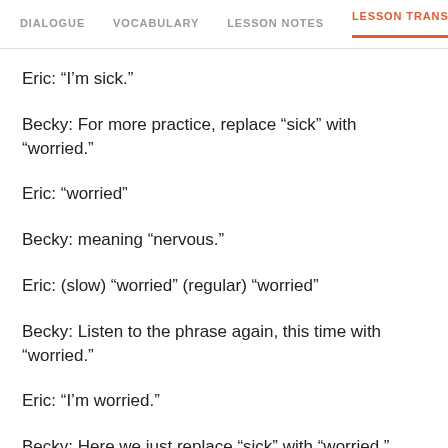DIALOGUE | VOCABULARY | LESSON NOTES | LESSON TRANSCRIPT | C
Eric: “I’m sick.”
Becky: For more practice, replace “sick” with “worried.”
Eric: “worried”
Becky: meaning “nervous.”
Eric: (slow) “worried” (regular) “worried”
Becky: Listen to the phrase again, this time with “worried.”
Eric: “I’m worried.”
Becky: Here we just replace “sick” with “worried.” Now